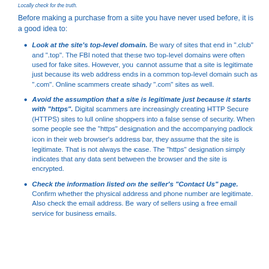Locally check for the truth.
Before making a purchase from a site you have never used before, it is a good idea to:
Look at the site’s top-level domain. Be wary of sites that end in “.club” and “.top”. The FBI noted that these two top-level domains were often used for fake sites. However, you cannot assume that a site is legitimate just because its web address ends in a common top-level domain such as “.com”. Online scammers create shady “.com” sites as well.
Avoid the assumption that a site is legitimate just because it starts with “https”. Digital scammers are increasingly creating HTTP Secure (HTTPS) sites to lull online shoppers into a false sense of security. When some people see the “https” designation and the accompanying padlock icon in their web browser’s address bar, they assume that the site is legitimate. That is not always the case. The “https” designation simply indicates that any data sent between the browser and the site is encrypted.
Check the information listed on the seller’s “Contact Us” page. Confirm whether the physical address and phone number are legitimate. Also check the email address. Be wary of sellers using a free email service for business emails.